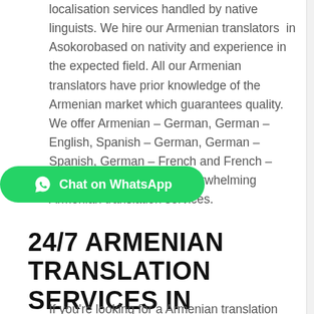localisation services handled by native linguists. We hire our Armenian translators  in Asokorobased on nativity and experience in the expected field. All our Armenian translators have prior knowledge of the Armenian market which guarantees quality. We offer Armenian – German, German – English, Spanish – German, German – Spanish, German – French and French – German etc to make up overwhelming Armenian translation services.
[Figure (other): Green WhatsApp chat button with WhatsApp circle icon and text 'Chat on WhatsApp']
24/7 ARMENIAN TRANSLATION SERVICES IN ASOKORO
If you're looking for a Armenian translation services...